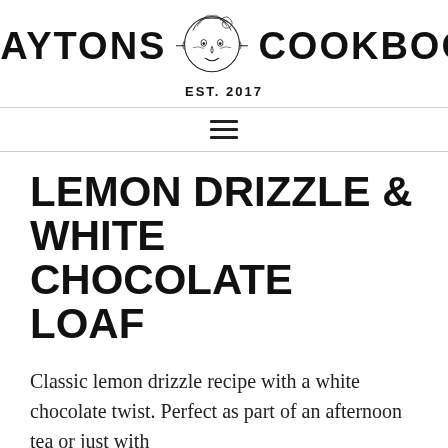[Figure (logo): Claytons Cookbook logo with illustrated face in centre, text 'CLAYTONS' on left, 'COOKBOOK' on right, horizontal lines through middle, 'EST. 2017' below face]
[Figure (other): Hamburger menu icon with three horizontal lines]
LEMON DRIZZLE & WHITE CHOCOLATE LOAF
Classic lemon drizzle recipe with a white chocolate twist. Perfect as part of an afternoon tea or just with